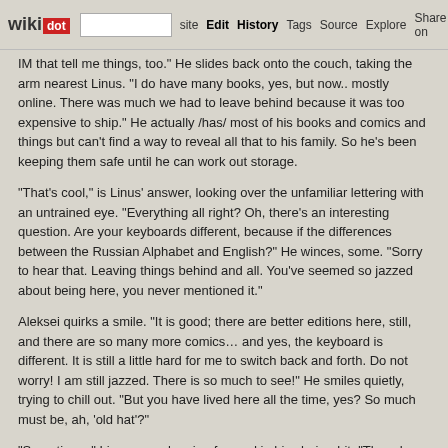wikidot | site | Edit | History | Tags | Source | Explore | Share on [twitter]
IM that tell me things, too." He slides back onto the couch, taking the arm nearest Linus. "I do have many books, yes, but now.. mostly online. There was much we had to leave behind because it was too expensive to ship." He actually /has/ most of his books and comics and things but can't find a way to reveal all that to his family. So he's been keeping them safe until he can work out storage.
"That's cool," is Linus' answer, looking over the unfamiliar lettering with an untrained eye. "Everything all right? Oh, there's an interesting question. Are your keyboards different, because if the differences between the Russian Alphabet and English?" He winces, some. "Sorry to hear that. Leaving things behind and all. You've seemed so jazzed about being here, you never mentioned it."
Aleksei quirks a smile. "It is good; there are better editions here, still, and there are so many more comics… and yes, the keyboard is different. It is still a little hard for me to switch back and forth. Do not worry! I am still jazzed. There is so much to see!" He smiles quietly, trying to chill out. "But you have lived here all the time, yes? So much must be, ah, 'old hat'?"
"Sometimes," Linus says, leaning forward in his chair a bit. "Though, that makes me regret sometimes, because if I'm around something all the time.. well, folks take it for